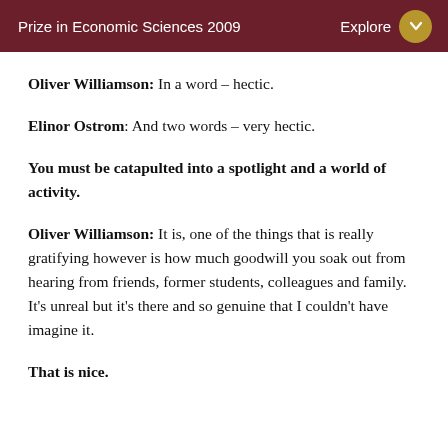Prize in Economic Sciences 2009  Explore
Oliver Williamson: In a word – hectic.
Elinor Ostrom: And two words – very hectic.
You must be catapulted into a spotlight and a world of activity.
Oliver Williamson: It is, one of the things that is really gratifying however is how much goodwill you soak out from hearing from friends, former students, colleagues and family. It's unreal but it's there and so genuine that I couldn't have imagine it.
That is nice.